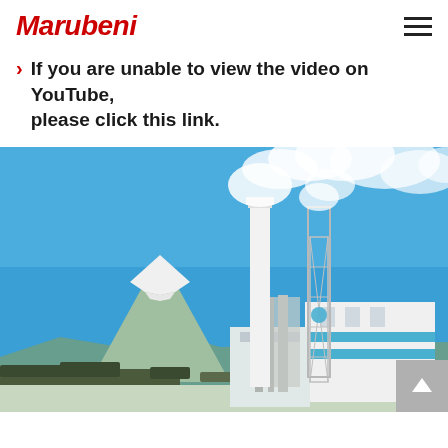Marubeni
If you are unable to view the video on YouTube, please click this link.
[Figure (photo): Industrial facility with two tall smokestacks emitting white steam/smoke against a clear blue sky, with snow-capped Mount Fuji visible in the background. The building is white with blue horizontal stripes. Surrounded by trees.]